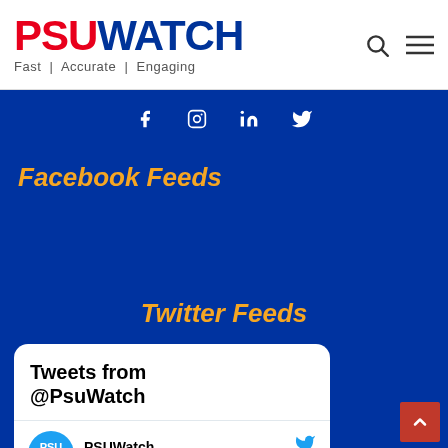PSUWATCH — Fast | Accurate | Engaging
Facebook Feeds
Twitter Feeds
Tweets from @PsuWatch
PSUWatch @PsuWatch · 2h
SP Mohanty has been assigned to the additional charge of Brahmaputra Valley Fertilizer